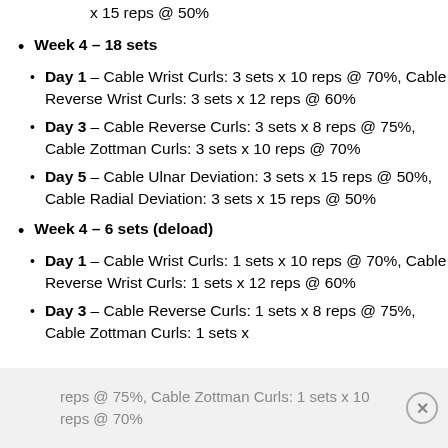x 15 reps @ 50%
Week 4 – 18 sets
Day 1 – Cable Wrist Curls: 3 sets x 10 reps @ 70%, Cable Reverse Wrist Curls: 3 sets x 12 reps @ 60%
Day 3 – Cable Reverse Curls: 3 sets x 8 reps @ 75%, Cable Zottman Curls: 3 sets x 10 reps @ 70%
Day 5 – Cable Ulnar Deviation: 3 sets x 15 reps @ 50%, Cable Radial Deviation: 3 sets x 15 reps @ 50%
Week 4 – 6 sets (deload)
Day 1 – Cable Wrist Curls: 1 sets x 10 reps @ 70%, Cable Reverse Wrist Curls: 1 sets x 12 reps @ 60%
Day 3 – Cable Reverse Curls: 1 sets x 8 reps @ 75%, Cable Zottman Curls: 1 sets x 10 reps @ 70%